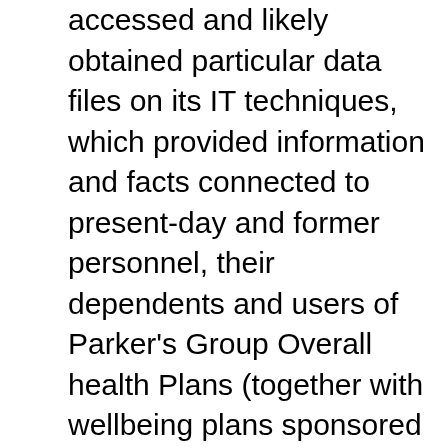accessed and likely obtained particular data files on its IT techniques, which provided information and facts connected to present-day and former personnel, their dependents and users of Parker's Group Overall health Plans (together with wellbeing plans sponsored by an entity acquired by Parker). This facts might have involved individuals' names in blend with a person or far more of the subsequent: Social Security quantities, dates of start, addresses, driver's license numbers, US passport figures, money account info (lender account and routing figures), on-line account usernames/passwords, enrollment data (together with overall health insurance policy